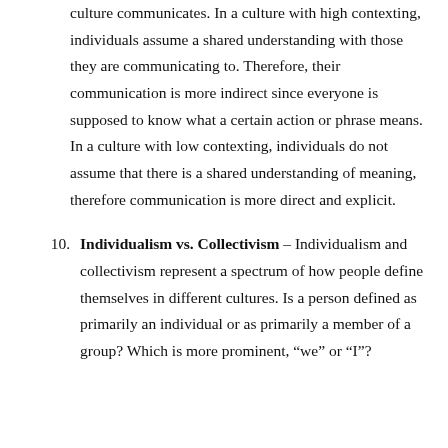culture communicates. In a culture with high contexting, individuals assume a shared understanding with those they are communicating to. Therefore, their communication is more indirect since everyone is supposed to know what a certain action or phrase means. In a culture with low contexting, individuals do not assume that there is a shared understanding of meaning, therefore communication is more direct and explicit.
10. Individualism vs. Collectivism – Individualism and collectivism represent a spectrum of how people define themselves in different cultures. Is a person defined as primarily an individual or as primarily a member of a group? Which is more prominent, “we” or “I”?